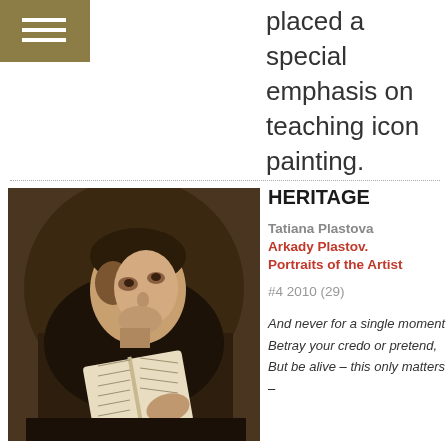placed a special emphasis on teaching icon painting.
HERITAGE
Tatiana Plastova
Arkady Plastov. Portraits of the Artist
#4 2010 (29)
[Figure (photo): Old master painting of a monk or scholar in dark robes, looking upward while holding an open book]
And never for a single moment
Betray your credo or pretend,
But be alive – this only matters –